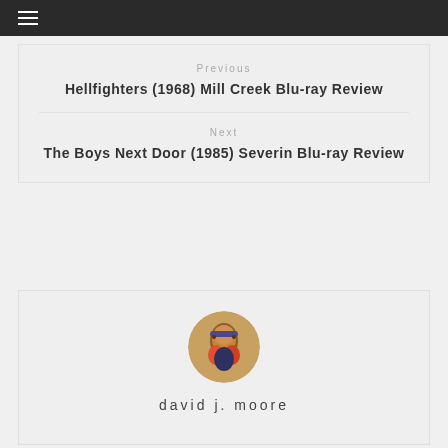≡
Previous
Hellfighters (1968) Mill Creek Blu-ray Review
Next
The Boys Next Door (1985) Severin Blu-ray Review
[Figure (photo): Circular avatar photo of action/war movie artwork showing soldiers]
david j. moore